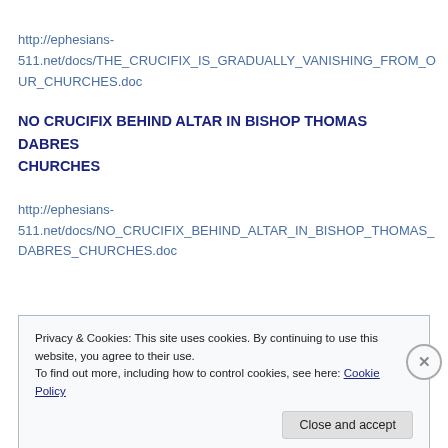http://ephesians-511.net/docs/THE_CRUCIFIX_IS_GRADUALLY_VANISHING_FROM_OUR_CHURCHES.doc
NO CRUCIFIX BEHIND ALTAR IN BISHOP THOMAS DABRES CHURCHES
http://ephesians-511.net/docs/NO_CRUCIFIX_BEHIND_ALTAR_IN_BISHOP_THOMAS_DABRES_CHURCHES.doc
Privacy & Cookies: This site uses cookies. By continuing to use this website, you agree to their use. To find out more, including how to control cookies, see here: Cookie Policy